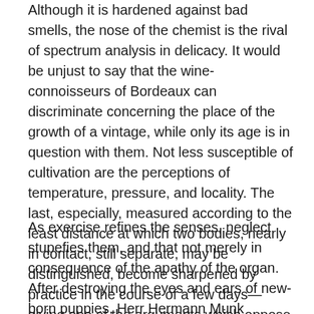Although it is hardened against bad smells, the nose of the chemist is the rival of spectrum analysis in delicacy. It would be unjust to say that the wine-connoisseurs of Bordeaux can discriminate concerning the place of the growth of a vintage, while only its age is in question with them. Not less susceptible of cultivation are the perceptions of temperature, pressure, and locality. The last, especially, measured according to the least distance at which two bodies, nearly in contact, still separate, may be distinguished, become sharpened by practice in the course of a few days—giving one of the arguments which oppose a purely anatomical definition of the range of feeling.
As exercise refines the senses, neglect stupefies them, and that not merely in consequence of the apathy of the organ. After destroying the eyes and ears of new-born puppies, Herr Hermann Munk observed that what he had